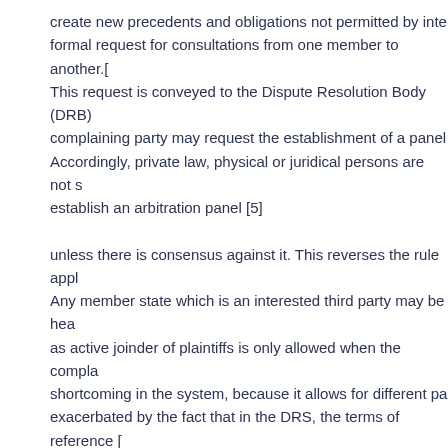create new precedents and obligations not permitted by inte formal request for consultations from one member to another.[ This request is conveyed to the Dispute Resolution Body (DRB) complaining party may request the establishment of a panel Accordingly, private law, physical or juridical persons are not s establish an arbitration panel [5]
unless there is consensus against it. This reverses the rule appl Any member state which is an interested third party may be hea as active joinder of plaintiffs is only allowed when the compla shortcoming in the system, because it allows for different pa exacerbated by the fact that in the DRS, the terms of reference [ of a dispute are notdetermined by the plaintiff, but by the lega cases brought by different members states against a single cou attract different decisions.[8]
Similarly, the system does not permit counterclaims of cross- different terms of reference for the same basic issue at stake involving Brazil and Canada over subsidies given to the respo